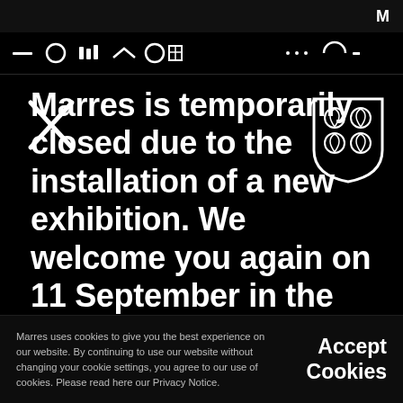M
[Figure (screenshot): Navigation bar with icons: hamburger/menu icons in white on black background]
[Figure (logo): Marres shield logo with leaf/grain motif in white outline]
Marres is temporarily closed due to the installation of a new exhibition. We welcome you again on 11 September in the exhibition 'Kolkata: Run in the Alley'!
Marres uses cookies to give you the best experience on our website. By continuing to use our website without changing your cookie settings, you agree to our use of cookies. Please read here our Privacy Notice.
Accept Cookies